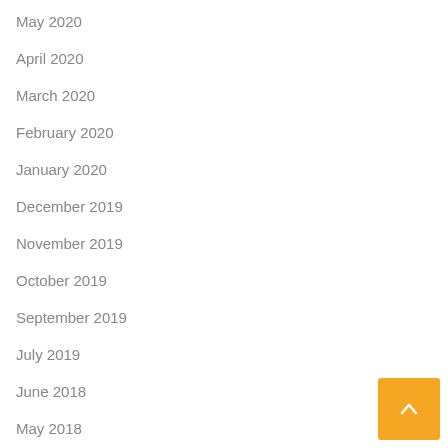May 2020
April 2020
March 2020
February 2020
January 2020
December 2019
November 2019
October 2019
September 2019
July 2019
June 2018
May 2018
April 2018